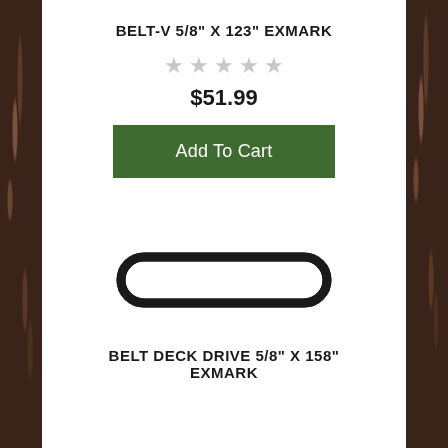BELT-V 5/8" X 123" EXMARK
[Figure (other): Five empty star rating icons in light gray]
$51.99
Add To Cart
[Figure (photo): Oval V-belt photographed on white background, dark black rubber belt]
BELT DECK DRIVE 5/8" X 158" EXMARK